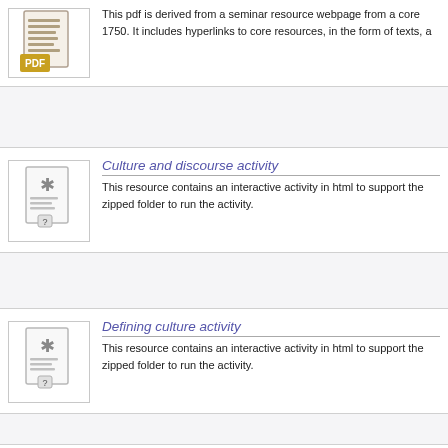[Figure (illustration): Document/PDF file icon with lines of text]
This pdf is derived from a seminar resource webpage from a core 1750. It includes hyperlinks to core resources, in the form of texts, a...
[Figure (illustration): Generic file icon with asterisk and question mark]
Culture and discourse activity
This resource contains an interactive activity in html to support the zipped folder to run the activity.
[Figure (illustration): Generic file icon with asterisk and question mark]
Defining culture activity
This resource contains an interactive activity in html to support the zipped folder to run the activity.